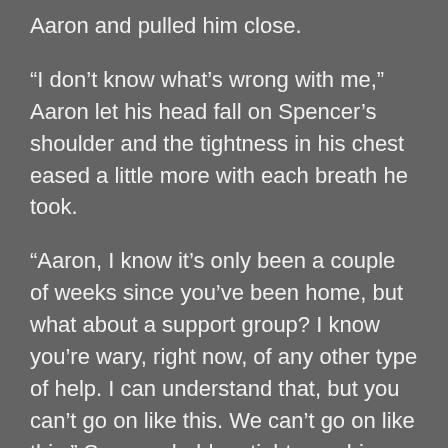Aaron and pulled him close.
“I don’t know what’s wrong with me,” Aaron let his head fall on Spencer’s shoulder and the tightness in his chest eased a little more with each breath he took.
“Aaron, I know it’s only been a couple of weeks since you’ve been home, but what about a support group? I know you’re wary, right now, of any other type of help. I can understand that, but you can’t go on like this. We can’t go on like this.” Spencer held on tighter as his fear for the man he loves grows.
“I,” Aaron paused a moment and thought about it. He could still come home, it wouldn’t be in a